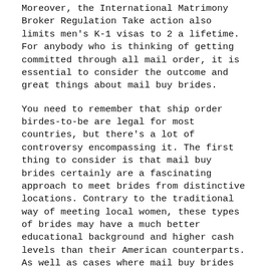Moreover, the International Matrimony Broker Regulation Take action also limits men's K-1 visas to 2 a lifetime. For anybody who is thinking of getting committed through all mail order, it is essential to consider the outcome and great things about mail buy brides.
You need to remember that ship order birdes-to-be are legal for most countries, but there's a lot of controversy encompassing it. The first thing to consider is that mail buy brides certainly are a fascinating approach to meet brides from distinctive locations. Contrary to the traditional way of meeting local women, these types of brides may have a much better educational background and higher cash levels than their American counterparts. As well as cases where mail buy brides marry to American citizens.